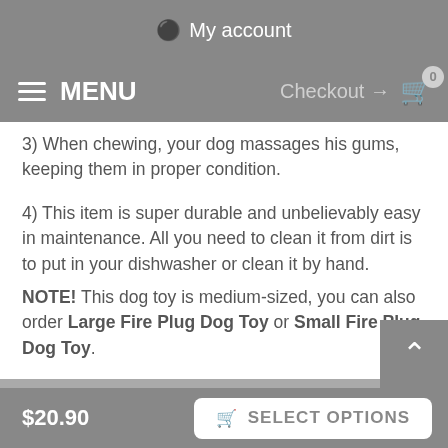My account
MENU  Checkout → 0
3) When chewing, your dog massages his gums, keeping them in proper condition.
4) This item is super durable and unbelievably easy in maintenance. All you need to clean it from dirt is to put in your dishwasher or clean it by hand.
NOTE! This dog toy is medium-sized, you can also order Large Fire Plug Dog Toy or Small Fire Plug Dog Toy.
Take a look at chewing dog toys for medium breeds in 3D
see 3D view!
$20.90  SELECT OPTIONS